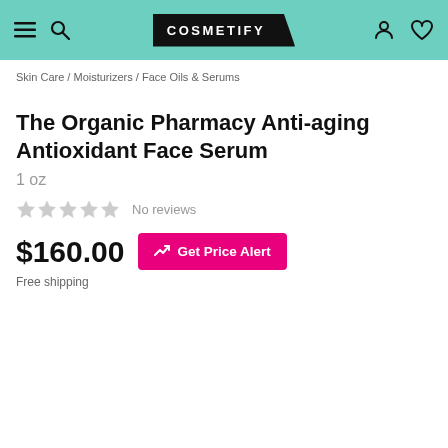COSMETIFY
Skin Care / Moisturizers / Face Oils & Serums
The Organic Pharmacy Anti-aging Antioxidant Face Serum
1 oz
No reviews
$160.00
Get Price Alert
Free shipping